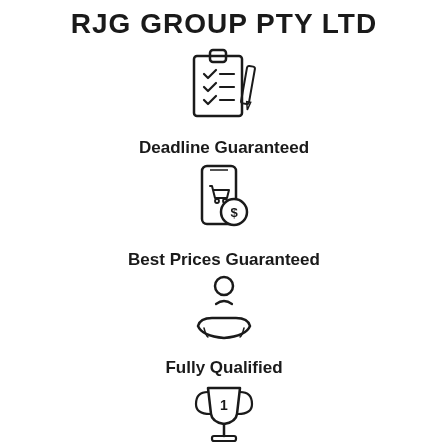RJG GROUP PTY LTD
[Figure (illustration): Clipboard with checklist and pencil icon]
Deadline Guaranteed
[Figure (illustration): Mobile phone with shopping cart and dollar coin icon]
Best Prices Guaranteed
[Figure (illustration): Hand holding a person/service icon]
Fully Qualified
[Figure (illustration): Trophy with number 1 icon]